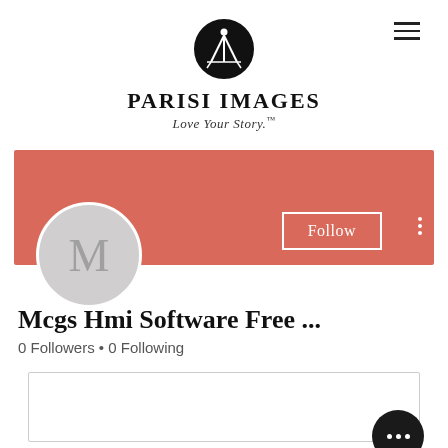[Figure (logo): Parisi Images logo: a circular icon with a surveying tripod/camera on legs over a white background, above the text PARISI IMAGES in serif caps and tagline 'Love Your Story.']
PARISI IMAGES
Love Your Story.™
[Figure (screenshot): Social media profile card with salmon/terracotta banner, gray avatar circle with letter M, Follow button, vertical dots menu, username 'Mcgs Hmi Software Free ...', 0 Followers • 0 Following, a content box with a three-dot more button, and 'Profile' section title.]
Mcgs Hmi Software Free ...
0 Followers • 0 Following
Profile